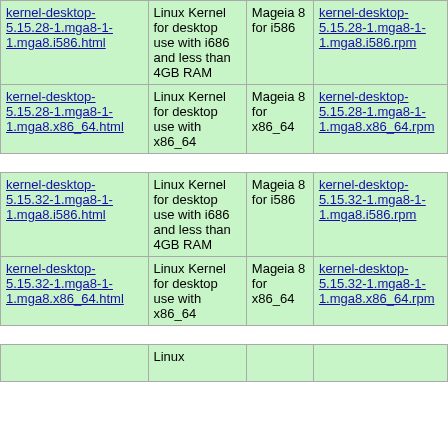| kernel-desktop-5.15.28-1.mga8-1-1.mga8.i586.html | Linux Kernel for desktop use with i686 and less than 4GB RAM | Mageia 8 for i586 | kernel-desktop-5.15.28-1.mga8-1-1.mga8.i586.rpm |
| kernel-desktop-5.15.28-1.mga8-1-1.mga8.x86_64.html | Linux Kernel for desktop use with x86_64 | Mageia 8 for x86_64 | kernel-desktop-5.15.28-1.mga8-1-1.mga8.x86_64.rpm |
| kernel-desktop-5.15.32-1.mga8-1-1.mga8.i586.html | Linux Kernel for desktop use with i686 and less than 4GB RAM | Mageia 8 for i586 | kernel-desktop-5.15.32-1.mga8-1-1.mga8.i586.rpm |
| kernel-desktop-5.15.32-1.mga8-1-1.mga8.x86_64.html | Linux Kernel for desktop use with x86_64 | Mageia 8 for x86_64 | kernel-desktop-5.15.32-1.mga8-1-1.mga8.x86_64.rpm |